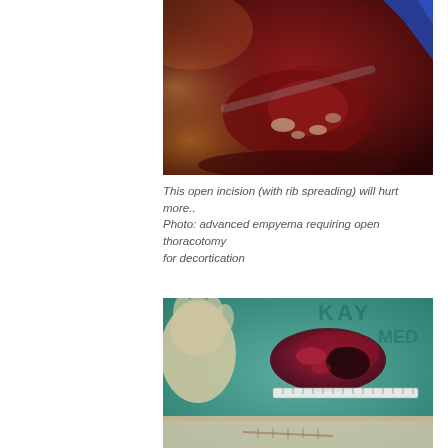[Figure (photo): Surgical photo of an open thoracotomy incision showing rib spreading with blood and tissue visible, advanced empyema requiring open thoracotomy for decortication]
This open incision (with rib spreading) will hurt more.. Photo: advanced empyema requiring open thoracotomy for decortication
[Figure (photo): Photo of a dark red/crimson tissue specimen (decorticated peel or empyema membrane) placed on a teal/green surgical drape, with a gloved hand visible and a ruler for scale]